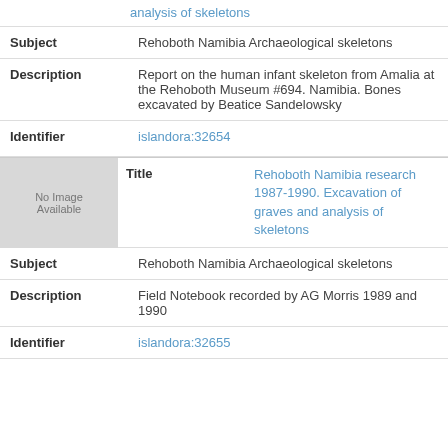analysis of skeletons (link, truncated top)
| Field | Value |
| --- | --- |
| Subject | Rehoboth Namibia Archaeological skeletons |
| Description | Report on the human infant skeleton from Amalia at the Rehoboth Museum #694. Namibia. Bones excavated by Beatice Sandelowsky |
| Identifier | islandora:32654 |
[Figure (other): No Image Available placeholder box]
| Field | Value |
| --- | --- |
| Title | Rehoboth Namibia research 1987-1990. Excavation of graves and analysis of skeletons |
| Subject | Rehoboth Namibia Archaeological skeletons |
| Description | Field Notebook recorded by AG Morris 1989 and 1990 |
| Identifier | islandora:32655 |